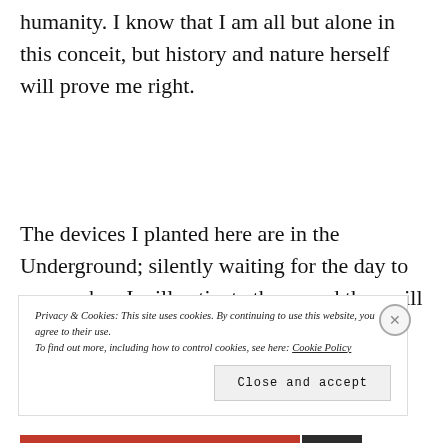humanity. I know that I am all but alone in this conceit, but history and nature herself will prove me right.
The devices I planted here are in the Underground; silently waiting for the day to come when I will activate them, and they will open their ceramic filters and gently release their payload into the air. I burned
Privacy & Cookies: This site uses cookies. By continuing to use this website, you agree to their use.
To find out more, including how to control cookies, see here: Cookie Policy
Close and accept